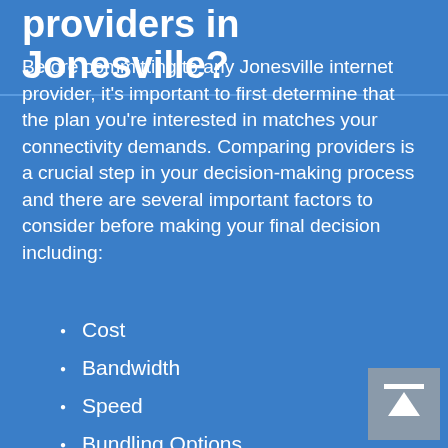providers in Jonesville?
Before committing to any Jonesville internet provider, it’s important to first determine that the plan you’re interested in matches your connectivity demands. Comparing providers is a crucial step in your decision-making process and there are several important factors to consider before making your final decision including:
Cost
Bandwidth
Speed
Bundling Options
Contract Terms